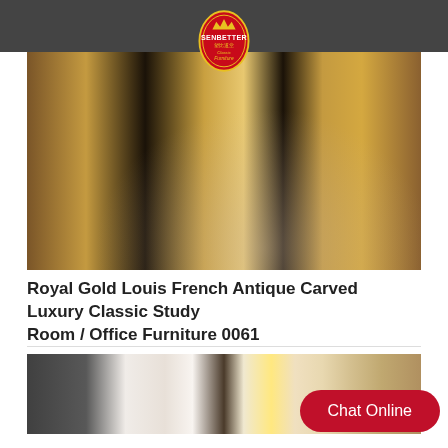Senbetter Classic Furniture
[Figure (photo): Close-up photo of Royal Gold Louis French Antique Carved Luxury Classic furniture — ornate dark cabinet with gold carved legs and amber marble panels, with a tufted leather chair visible on the right, set on a circular marble floor area. Senbetter logo visible at top center.]
Royal Gold Louis French Antique Carved Luxury Classic Study Room / Office Furniture 0061
[Figure (photo): Partial photo of a luxury interior room with dark patterned wallpaper, white molding, chandelier with multiple lamp shades, and ornate furniture partially visible.]
Chat Online